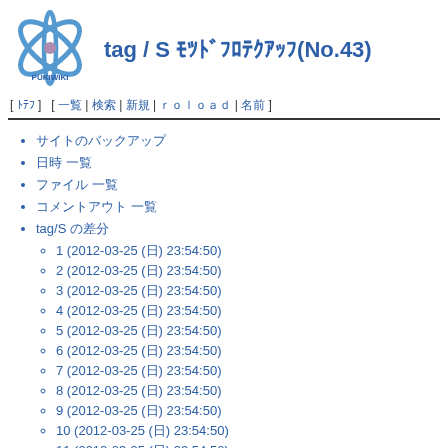tag / S サイトのバックアップ(No.43)
[ トップ ] [ 一覧 | 検索 | 新規 | コピーペースト | 名前変更 ]
サイトのバックアップ
日時 一覧
ファイル 一覧
コメントアウト 一覧
tag/S の差分
1 (2012-03-25 (日) 23:54:50)
2 (2012-03-25 (日) 23:54:50)
3 (2012-03-25 (日) 23:54:50)
4 (2012-03-25 (日) 23:54:50)
5 (2012-03-25 (日) 23:54:50)
6 (2012-03-25 (日) 23:54:50)
7 (2012-03-25 (日) 23:54:50)
8 (2012-03-25 (日) 23:54:50)
9 (2012-03-25 (日) 23:54:50)
10 (2012-03-25 (日) 23:54:50)
11 (2012-03-25 (日) 23:54:50)
12 (2012-03-25 (日) 23:54:50)